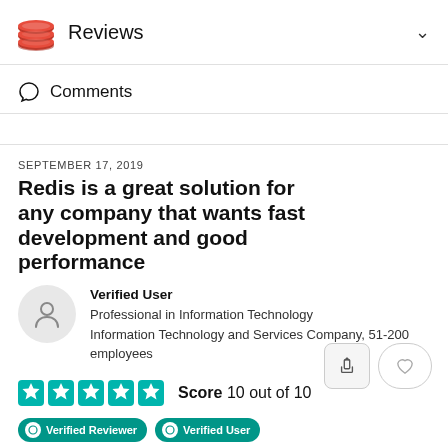Reviews
Comments
SEPTEMBER 17, 2019
Redis is a great solution for any company that wants fast development and good performance
Verified User
Professional in Information Technology
Information Technology and Services Company, 51-200 employees
Score 10 out of 10